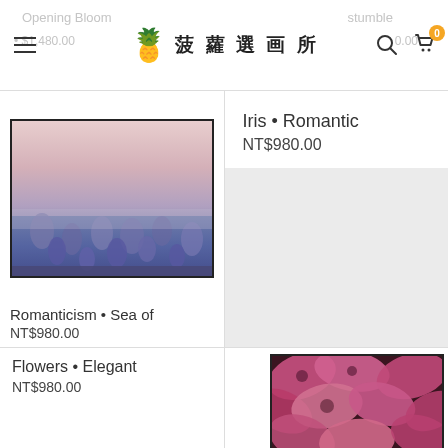菠蘿選画所 — Opening Bloom • Stumble, NT$1,480.00 | cart: 0
[Figure (photo): Framed landscape photo of a misty field of iris flowers at dusk with pink sky]
Romanticism • Sea of
NT$980.00
Iris • Romantic
NT$980.00
Flowers • Elegant
NT$980.00
[Figure (photo): Framed close-up photo of pink/magenta flower petals]